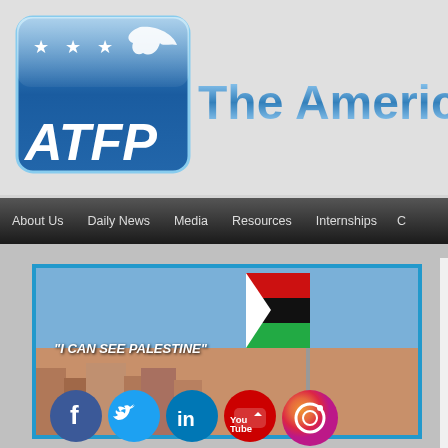[Figure (logo): ATFP logo — blue rounded rectangle with stars and eagle silhouette, text 'ATFP' in white italic bold]
The American
About Us  Daily News  Media  Resources  Internships  C
[Figure (photo): Photo of a Palestinian flag on a pole against a blue sky with city buildings below. Text overlay reads '"I CAN SEE PALESTINE"']
[Figure (infographic): Social media icons: Facebook (blue), Twitter (teal), LinkedIn (blue), YouTube (red), Instagram (gradient)]
Archive - Jul 2010
Date
All  2006  2007  2008  20
All  Jan  Feb  Mar  Apr  M
All  1  2  3  4  5  6  7  8
29  30  31
Type
All  Daily News Article  Int